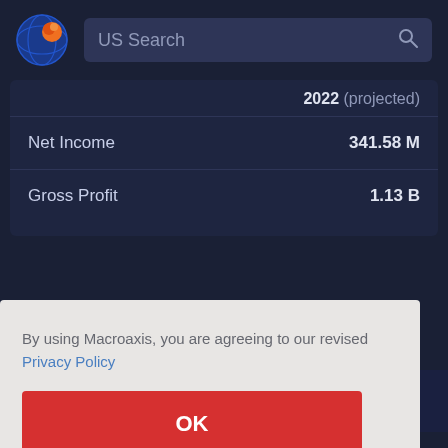[Figure (screenshot): Macroaxis website logo — circular icon with orange and blue globe design]
US Search
|  | 2022 (projected) |
| --- | --- |
| Net Income | 341.58 M |
| Gross Profit | 1.13 B |
By using Macroaxis, you are agreeing to our revised Privacy Policy
OK
osit
ities